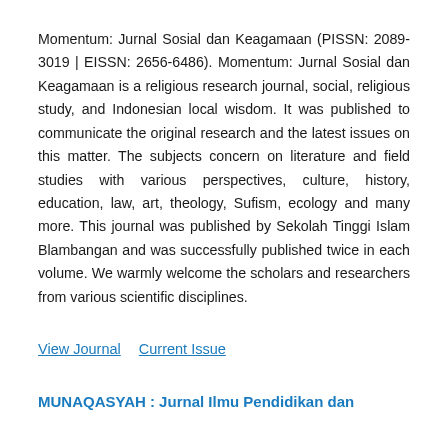Momentum: Jurnal Sosial dan Keagamaan (PISSN: 2089-3019 | EISSN: 2656-6486). Momentum: Jurnal Sosial dan Keagamaan is a religious research journal, social, religious study, and Indonesian local wisdom. It was published to communicate the original research and the latest issues on this matter. The subjects concern on literature and field studies with various perspectives, culture, history, education, law, art, theology, Sufism, ecology and many more. This journal was published by Sekolah Tinggi Islam Blambangan and was successfully published twice in each volume. We warmly welcome the scholars and researchers from various scientific disciplines.
View Journal   Current Issue
MUNAQASYAH : Jurnal Ilmu Pendidikan dan